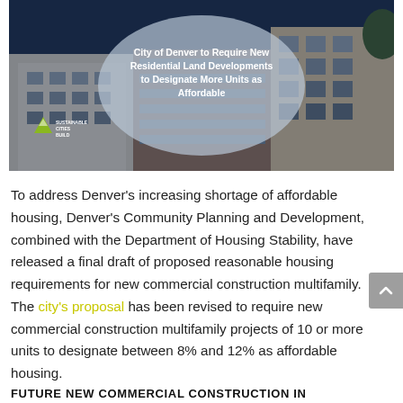[Figure (photo): Hero image of residential/commercial multifamily buildings with a semi-transparent oval overlay containing the article title text, and a small Sustainable Cities Build logo in the lower-left of the image.]
City of Denver to Require New Residential Land Developments to Designate More Units as Affordable
To address Denver’s increasing shortage of affordable housing, Denver’s Community Planning and Development, combined with the Department of Housing Stability, have released a final draft of proposed reasonable housing requirements for new commercial construction multifamily. The city’s proposal has been revised to require new commercial construction multifamily projects of 10 or more units to designate between 8% and 12% as affordable housing.
FUTURE NEW COMMERCIAL CONSTRUCTION IN